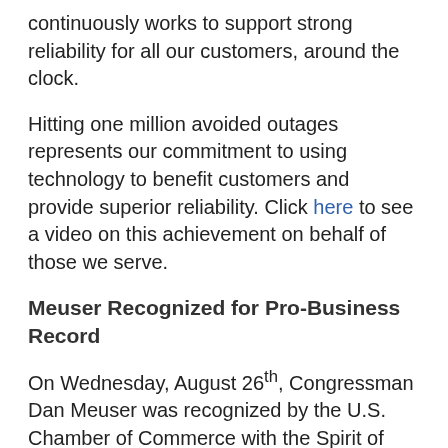continuously works to support strong reliability for all our customers, around the clock.
Hitting one million avoided outages represents our commitment to using technology to benefit customers and provide superior reliability. Click here to see a video on this achievement on behalf of those we serve.
Meuser Recognized for Pro-Business Record
On Wednesday, August 26th, Congressman Dan Meuser was recognized by the U.S. Chamber of Commerce with the Spirit of Enterprise Award. Since 1965, the U.S. Chamber of Commerce has rated senators and members of Congress based on the votes they have cast for or against business priorities. While casting pro-growth votes remains essential, the U.S. Chamber now